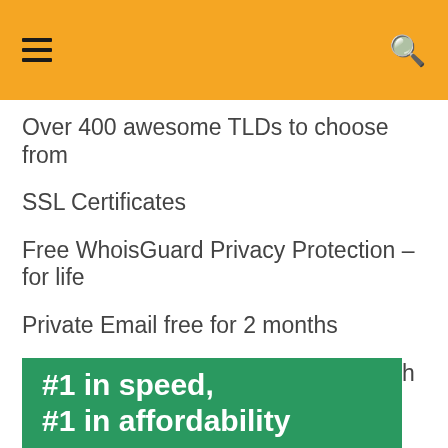Over 400 awesome TLDs to choose from
SSL Certificates
Free WhoisGuard Privacy Protection – for life
Private Email free for 2 months
Positive SSL for $3.88/1st yr with each domain registration
24/7 customer support
[Figure (infographic): Green banner with bold white text reading '#1 in speed, #1 in affordability']